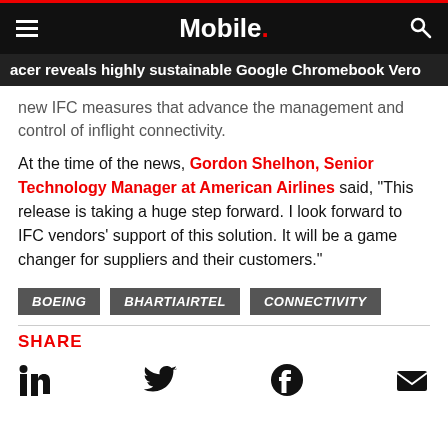Mobile.
acer reveals highly sustainable Google Chromebook Vero
new IFC measures that advance the management and control of inflight connectivity.
At the time of the news, Gordon Shelhon, Senior Technology Manager at American Airlines said, "This release is taking a huge step forward. I look forward to IFC vendors' support of this solution. It will be a game changer for suppliers and their customers."
BOEING
BHARTIAIRTEL
CONNECTIVITY
SHARE